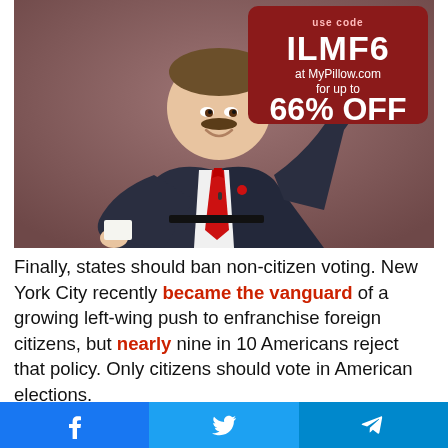[Figure (photo): A man in a dark suit with a red tie giving a thumbs up gesture on a stage. Overlaid in the top-right corner is a dark red rounded rectangle advertisement box reading: use code ILMF6 at MyPillow.com for up to 66% OFF]
Finally, states should ban non-citizen voting. New York City recently became the vanguard of a growing left-wing push to enfranchise foreign citizens, but nearly nine in 10 Americans reject that policy. Only citizens should vote in American elections.
Facebook | Twitter | Telegram share buttons